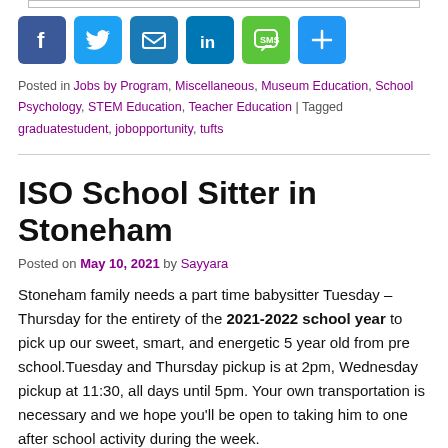[Figure (other): Social sharing buttons: Facebook, Twitter, Email, LinkedIn, SMS, Share (plus icon)]
Posted in Jobs by Program, Miscellaneous, Museum Education, School Psychology, STEM Education, Teacher Education | Tagged graduatestudent, jobopportunity, tufts
ISO School Sitter in Stoneham
Posted on May 10, 2021 by Sayyara
Stoneham family needs a part time babysitter Tuesday – Thursday for the entirety of the 2021-2022 school year to pick up our sweet, smart, and energetic 5 year old from pre school.Tuesday and Thursday pickup is at 2pm, Wednesday pickup at 11:30, all days until 5pm. Your own transportation is necessary and we hope you'll be open to taking him to one after school activity during the week.